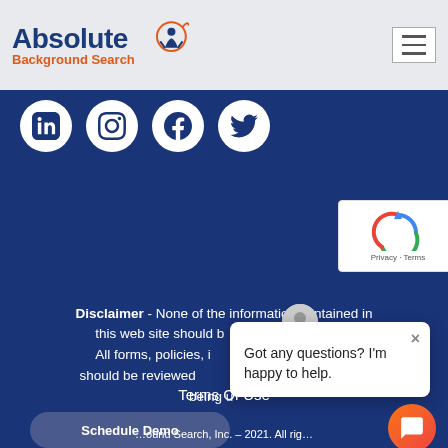Absolute Background Search
[Figure (logo): Absolute Background Search logo with person icon and circular arrow graphic]
[Figure (infographic): Social media icons: LinkedIn, Instagram, Facebook, Twitter — white circles on dark blue background]
[Figure (logo): reCAPTCHA badge with Privacy and Terms text]
Disclaimer - None of the information contained in this web site should be... All forms, policies, in... should be reviewed ... being u...
[Figure (screenshot): Chat popup with avatar and text: Got any questions? I'm happy to help. With close button.]
Terms Of Use
[Figure (infographic): Schedule Demo button — dark blue rounded rectangle]
...ound Search, Inc. – 2021. All rig...
[Figure (infographic): Orange chat bubble button in bottom right corner]